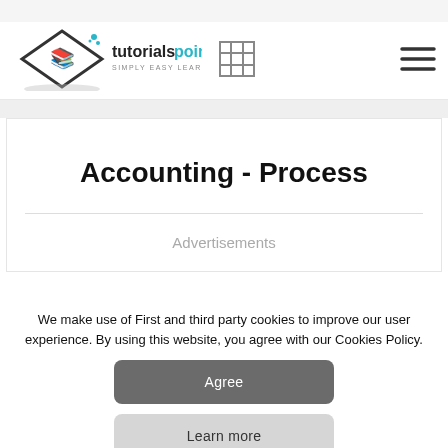[Figure (logo): Tutorialspoint logo with diamond book icon and 'tutorialspoint SIMPLY EASY LEARNING' text]
Accounting - Process
Advertisements
We make use of First and third party cookies to improve our user experience. By using this website, you agree with our Cookies Policy.
Agree
Learn more